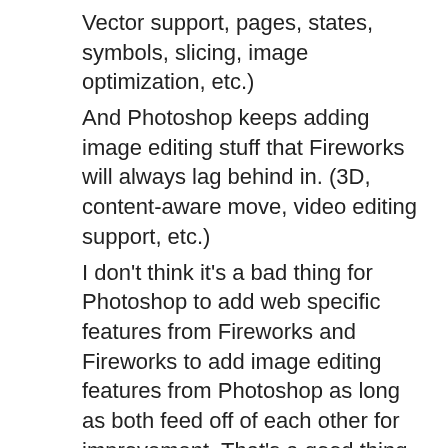Vector support, pages, states, symbols, slicing, image optimization, etc.) And Photoshop keeps adding image editing stuff that Fireworks will always lag behind in. (3D, content-aware move, video editing support, etc.) I don't think it's a bad thing for Photoshop to add web specific features from Fireworks and Fireworks to add image editing features from Photoshop as long as both feed off of each other for improvement. That's a good thing. But that also means Photoshop will always lag behind Fireworks for web based design and mockups, mobile design, and graphics for screen based output. Similarly, Fireworks will always lag behind Photoshop for image editing, photography, print design, 3D, and video.